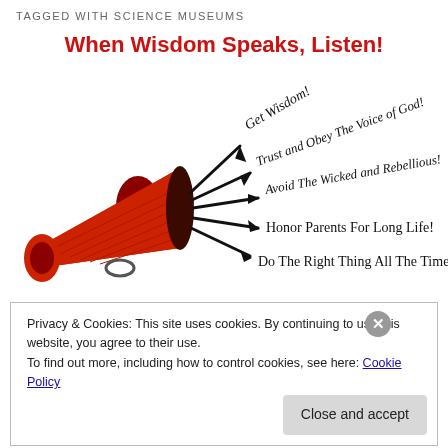TAGGED WITH SCIENCE MUSEUMS
When Wisdom Speaks, Listen!
[Figure (illustration): A red megaphone/bullhorn with five radiating text banners: 'Get Wisdom!', 'Trust and Obey The Voice of God!', 'Avoid The Wicked and Rebellious!', 'Honor Parents For Long Life!', 'Do The Right Thing All The Time!']
Privacy & Cookies: This site uses cookies. By continuing to use this website, you agree to their use.
To find out more, including how to control cookies, see here: Cookie Policy
Close and accept